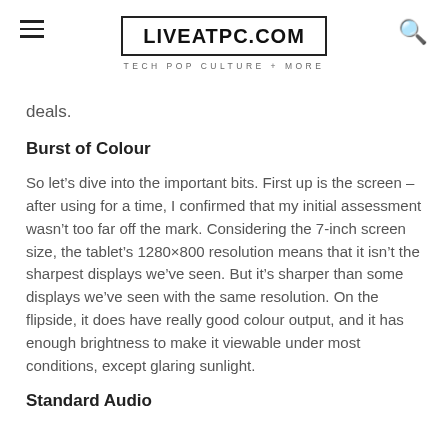LIVEATPC.COM — TECH POP CULTURE + MORE
deals.
Burst of Colour
So let's dive into the important bits. First up is the screen – after using for a time, I confirmed that my initial assessment wasn't too far off the mark. Considering the 7-inch screen size, the tablet's 1280×800 resolution means that it isn't the sharpest displays we've seen. But it's sharper than some displays we've seen with the same resolution. On the flipside, it does have really good colour output, and it has enough brightness to make it viewable under most conditions, except glaring sunlight.
Standard Audio